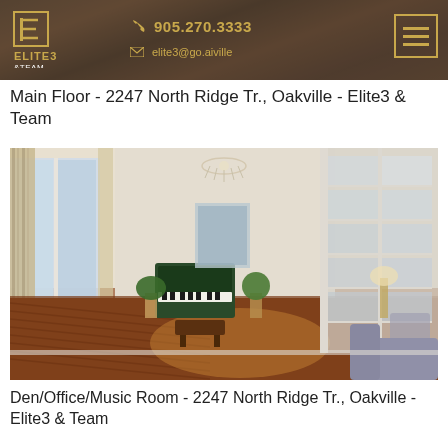905.270.3333 | elite3@go.aiville
Main Floor - 2247 North Ridge Tr., Oakville - Elite3 & Team
[Figure (photo): Interior photo of a bright den/office/music room with tall windows, hardwood floors, chandelier, grand piano, and French doors leading to another room. A grey upholstered chair is visible in the foreground right.]
Den/Office/Music Room - 2247 North Ridge Tr., Oakville - Elite3 & Team